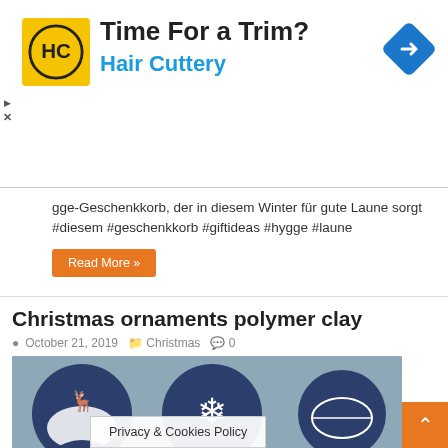[Figure (screenshot): Hair Cuttery advertisement banner with yellow logo, 'Time For a Trim?' headline, 'Hair Cuttery' subtitle in blue, and a blue navigation/directions icon on the right.]
gge-Geschenkkorb, der in diesem Winter für gute Laune sorgt #diesem #geschenkkorb #giftideas #hygge #laune
Read More »
Christmas ornaments polymer clay
October 21, 2019  Christmas  0
[Figure (photo): Photo of six dark navy blue polymer clay Christmas ornaments with white designs: reindeer scene, snowflake, Christmas ball decoration, Christmas tree, tree branches, and winter snowman scene.]
Privacy & Cookies Policy